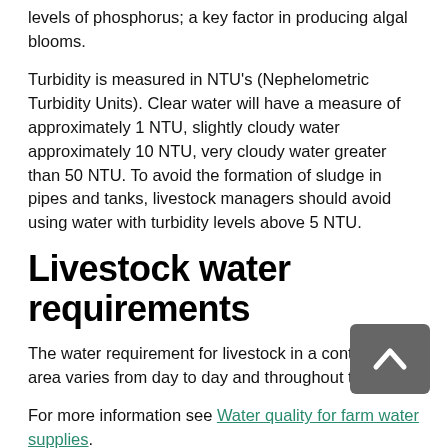levels of phosphorus; a key factor in producing algal blooms.
Turbidity is measured in NTU's (Nephelometric Turbidity Units). Clear water will have a measure of approximately 1 NTU, slightly cloudy water approximately 10 NTU, very cloudy water greater than 50 NTU. To avoid the formation of sludge in pipes and tanks, livestock managers should avoid using water with turbidity levels above 5 NTU.
Livestock water requirements
The water requirement for livestock in a containment area varies from day to day and throughout the year.
For more information see Water quality for farm water supplies.